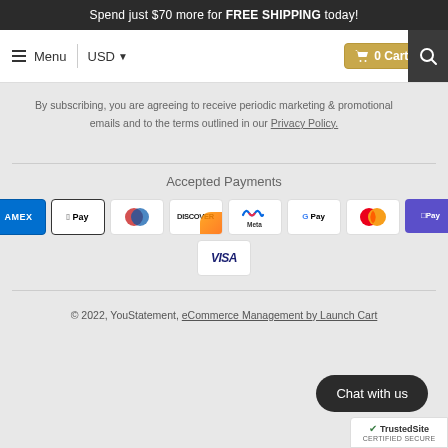Spend just $70 more for FREE SHIPPING today!
Menu  USD  0 Cart $0
By subscribing, you are agreeing to receive periodic marketing & promotional emails and to the terms outlined in our Privacy Policy.
Accepted Payments
[Figure (other): Payment method icons: American Express, Apple Pay, Diners Club, Discover, Meta Pay, Google Pay, Mastercard, Samsung Pay, Visa]
© 2022, YouStatement, eCommerce Management by Launch Cart
Chat with us
[Figure (logo): TrustedSite Certified Secure badge]